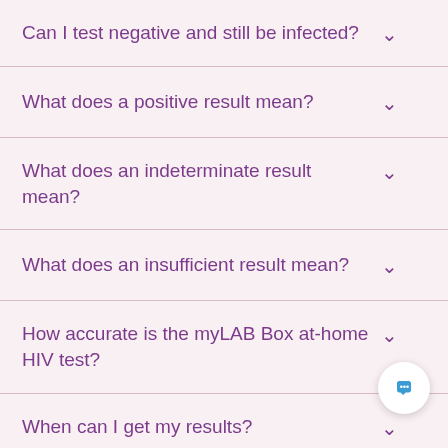Can I test negative and still be infected?
What does a positive result mean?
What does an indeterminate result mean?
What does an insufficient result mean?
How accurate is the myLAB Box at-home HIV test?
When can I get my results?